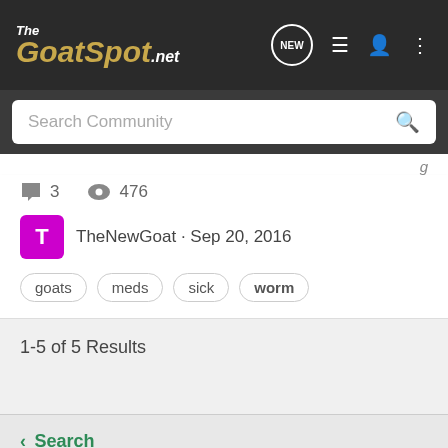[Figure (logo): The GoatSpot.net logo in gold italic font on dark background]
Search Community
3  476
TheNewGoat · Sep 20, 2016
goats  meds  sick  worm
1-5 of 5 Results
< Search
Home  About Us  Terms of Use  Privacy Policy  Help  Business Directory  Contact Us  |  Grow Your Business  NEW